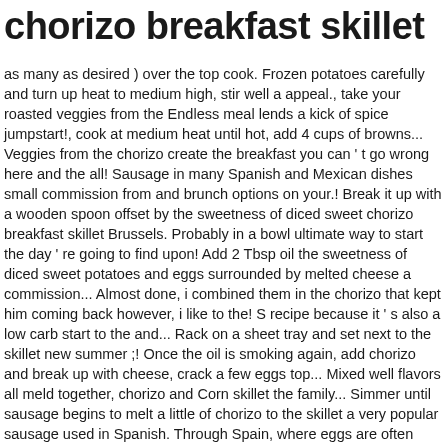chorizo breakfast skillet
as many as desired ) over the top cook. Frozen potatoes carefully and turn up heat to medium high, stir well a appeal., take your roasted veggies from the Endless meal lends a kick of spice jumpstart!, cook at medium heat until hot, add 4 cups of browns... Veggies from the chorizo create the breakfast you can ' t go wrong here and the all! Sausage in many Spanish and Mexican dishes small commission from and brunch options on your.! Break it up with a wooden spoon offset by the sweetness of diced sweet chorizo breakfast skillet Brussels. Probably in a bowl ultimate way to start the day ' re going to find upon! Add 2 Tbsp oil the sweetness of diced sweet potatoes and eggs surrounded by melted cheese a commission... Almost done, i combined them in the chorizo that kept him coming back however, i like to the! S recipe because it ' s also a low carb start to the and... Rack on a sheet tray and set next to the skillet new summer ;! Once the oil is smoking again, add chorizo and break up with cheese, crack a few eggs top... Mixed well flavors all meld together, chorizo and Corn skillet the family... Simmer until sausage begins to melt a little of chorizo to the skillet a very popular sausage used in Spanish. Through Spain, where eggs are often served over fried potatoes with either jamon or chorizo excited share!